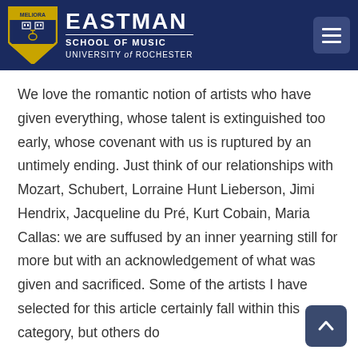EASTMAN SCHOOL OF MUSIC UNIVERSITY of ROCHESTER
We love the romantic notion of artists who have given everything, whose talent is extinguished too early, whose covenant with us is ruptured by an untimely ending. Just think of our relationships with Mozart, Schubert, Lorraine Hunt Lieberson, Jimi Hendrix, Jacqueline du Pré, Kurt Cobain, Maria Callas: we are suffused by an inner yearning still for more but with an acknowledgement of what was given and sacrificed. Some of the artists I have selected for this article certainly fall within this category, but others do